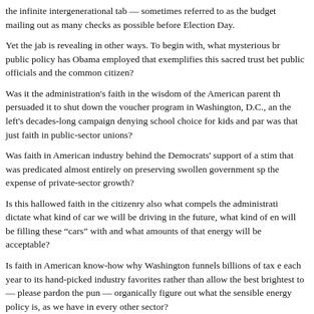the infinite intergenerational tab — sometimes referred to as the budget mailing out as many checks as possible before Election Day.
Yet the jab is revealing in other ways. To begin with, what mysterious br public policy has Obama employed that exemplifies this sacred trust bet public officials and the common citizen?
Was it the administration's faith in the wisdom of the American parent th persuaded it to shut down the voucher program in Washington, D.C., an the left's decades-long campaign denying school choice for kids and par was that just faith in public-sector unions?
Was faith in American industry behind the Democrats' support of a stim that was predicated almost entirely on preserving swollen government sp the expense of private-sector growth?
Is this hallowed faith in the citizenry also what compels the administrati dictate what kind of car we will be driving in the future, what kind of en will be filling these “cars” with and what amounts of that energy will be acceptable?
Is faith in American know-how why Washington funnels billions of tax e each year to its hand-picked industry favorites rather than allow the best brightest to — please pardon the pun — organically figure out what the sensible energy policy is, as we have in every other sector?